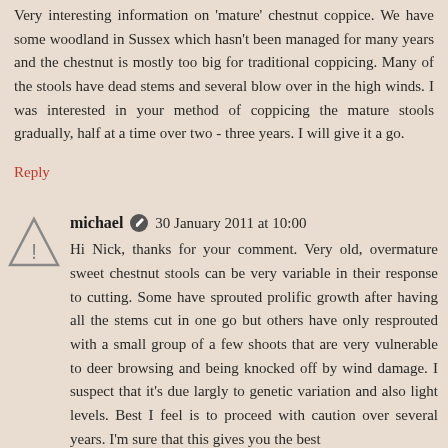Very interesting information on 'mature' chestnut coppice. We have some woodland in Sussex which hasn't been managed for many years and the chestnut is mostly too big for traditional coppicing. Many of the stools have dead stems and several blow over in the high winds. I was interested in your method of coppicing the mature stools gradually, half at a time over two - three years. I will give it a go.
Reply
michael  30 January 2011 at 10:00
Hi Nick, thanks for your comment. Very old, overmature sweet chestnut stools can be very variable in their response to cutting. Some have sprouted prolific growth after having all the stems cut in one go but others have only resprouted with a small group of a few shoots that are very vulnerable to deer browsing and being knocked off by wind damage. I suspect that it's due largly to genetic variation and also light levels. Best I feel is to proceed with caution over several years. I'm sure that this gives you the best